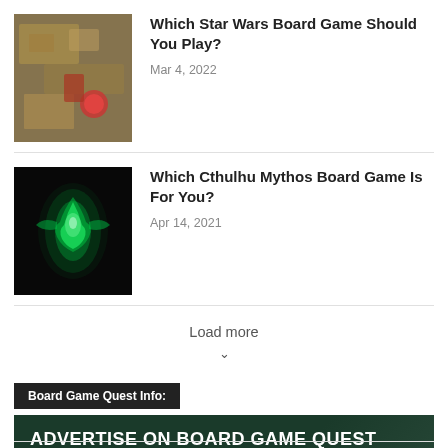[Figure (photo): Photo of Star Wars board game components spread on a table]
Which Star Wars Board Game Should You Play?
Mar 4, 2022
[Figure (photo): Dark image with green glowing creature/figure, Cthulhu themed]
Which Cthulhu Mythos Board Game Is For You?
Apr 14, 2021
Load more
Board Game Quest Info:
[Figure (infographic): Advertisement banner: ADVERTISE ON BOARD GAME QUEST - We have ad options availble for you to advertise your Kickstarter campaign. Contact us for rates]